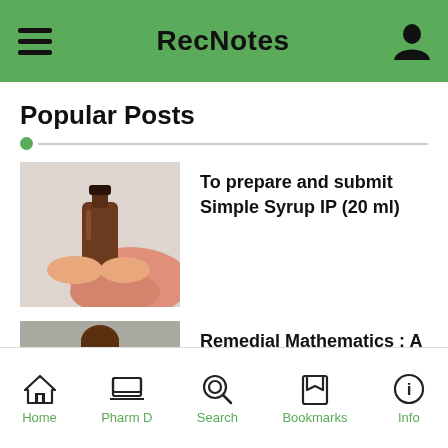RecNotes
Popular Posts
[Figure (photo): Brown glass bottle with a pink flower/cloth, held in hands — thumbnail for 'To prepare and submit Simple Syrup IP (20 ml)']
To prepare and submit Simple Syrup IP (20 ml)
[Figure (photo): Young woman holding a book in front of a concrete wall — thumbnail for 'Remedial Mathematics : A Text Book']
Remedial Mathematics : A Text Book
Home  Pharm D  Search  Bookmarks  Info